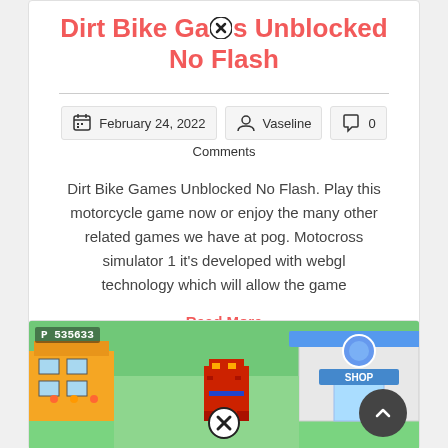Dirt Bike Games Unblocked No Flash
February 24, 2022  Vaseline  0 Comments
Dirt Bike Games Unblocked No Flash. Play this motorcycle game now or enjoy the many other related games we have at pog. Motocross simulator 1 it's developed with webgl technology which will allow the game
Read More
[Figure (screenshot): Pixel-art style game screenshot showing a Pokemon-like game with a character, shop building, and score display showing P 535633]